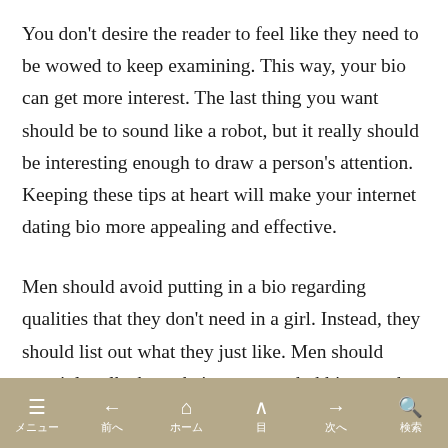You don't desire the reader to feel like they need to be wowed to keep examining. This way, your bio can get more interest. The last thing you want should be to sound like a robot, but it really should be interesting enough to draw a person's attention. Keeping these tips at heart will make your internet dating bio more appealing and effective.
Men should avoid putting in a bio regarding qualities that they don't need in a girl. Instead, they should list out what they just like. Men should certainly talk about their very own hobbies, work, and interests. This way, ladies will appreciate more information and be more likely to swipe right. If you need to attract a woman, don't choose your internet dating biography
≡  ←  ⌂  ∧  →  🔍  メニュー  前へ  ホーム  目  次へ  検索